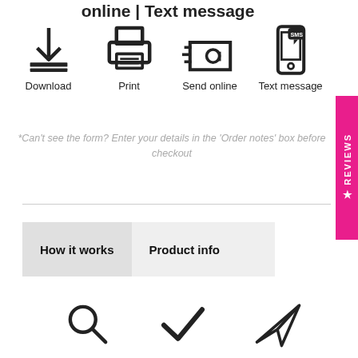online | Text message
[Figure (infographic): Four icons in a row: Download (download arrow icon), Print (printer icon), Send online (envelope with @ icon), Text message (smartphone with SMS bubble icon)]
*Can't see the form? Enter your details in the 'Order notes' box before checkout
How it works | Product info
[Figure (infographic): Three icons at the bottom: magnifying glass/search icon, checkmark icon, paper airplane icon]